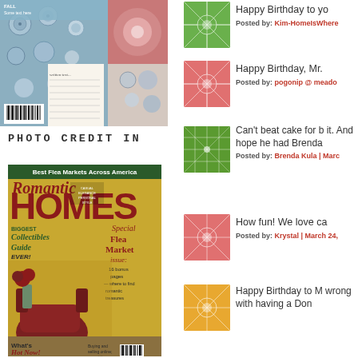[Figure (photo): Magazine cover collage with buttons and flowers at top left]
PHOTO CREDIT IN
[Figure (photo): Romantic Homes magazine cover - Best Flea Markets Across America issue]
[Figure (illustration): Green starburst avatar thumbnail]
Happy Birthday to yo
Posted by: Kim-HomeIsWhere
[Figure (illustration): Pink starburst avatar thumbnail]
Happy Birthday, Mr.
Posted by: pogonip @ meado
[Figure (illustration): Green grid/starburst avatar thumbnail]
Can't beat cake for b it. And hope he had Brenda
Posted by: Brenda Kula | Marc
[Figure (illustration): Pink starburst avatar thumbnail]
How fun! We love ca
Posted by: Krystal | March 24,
[Figure (illustration): Orange/yellow starburst avatar thumbnail]
Happy Birthday to M wrong with having a Don